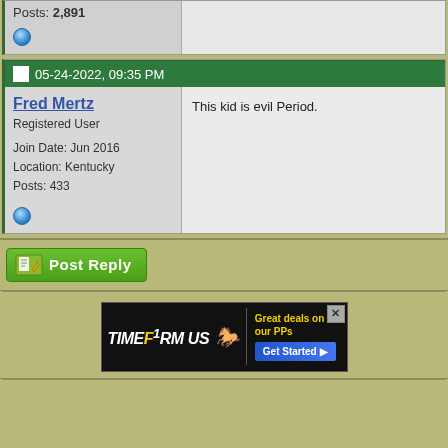Posts: 2,891
05-24-2022, 09:35 PM
Fred Mertz
Registered User
Join Date: Jun 2016
Location: Kentucky
Posts: 433
This kid is evil Period.
[Figure (screenshot): Post Reply button with green background and pencil/paper icon]
[Figure (other): TimeformUS advertisement banner with black background showing logo and Get Started button]